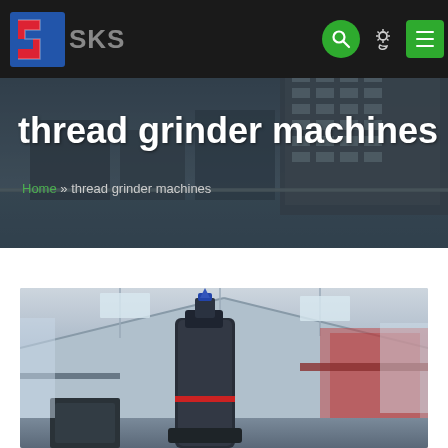[Figure (logo): SKS company logo with red and blue zigzag S shape and grey SKS text]
thread grinder machines
Home » thread grinder machines
[Figure (photo): Industrial grinder machine (tall cylindrical dark grey unit) inside a large warehouse/factory building with steel roof structure and large windows]